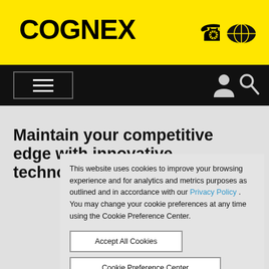[Figure (logo): Cognex logo in black bold text on yellow background header]
[Figure (screenshot): Black navigation bar with hamburger menu icon on the left and user/search icons on the right]
Maintain your competitive edge with innovative technologies
This website uses cookies to improve your browsing experience and for analytics and metrics purposes as outlined and in accordance with our Privacy Policy . You may change your cookie preferences at any time using the Cookie Preference Center.
Accept All Cookies
Cookie Preference Center